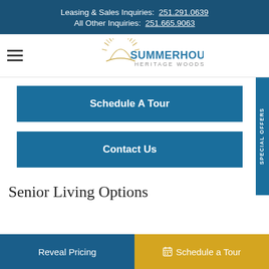Leasing & Sales Inquiries: 251.291.0639
All Other Inquiries: 251.665.9063
[Figure (logo): SummerHouse Heritage Woods logo with sunburst graphic above text]
Schedule A Tour
Contact Us
SPECIAL OFFERS
Senior Living Options
Reveal Pricing   Schedule a Tour